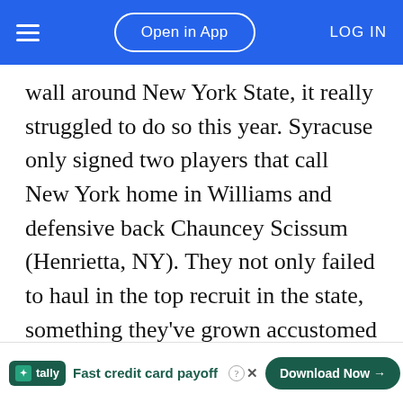≡  Open in App  LOG IN
wall around New York State, it really struggled to do so this year. Syracuse only signed two players that call New York home in Williams and defensive back Chauncey Scissum (Henrietta, NY). They not only failed to haul in the top recruit in the state, something they've grown accustomed to, but they also lost out on several key recruits that at times they were close to bringing in, including Ebenezer Ogundeko (Clemson), Augustus Edwards (Miami), and Laray Smith (Ind                                                      ling the                                                               ,